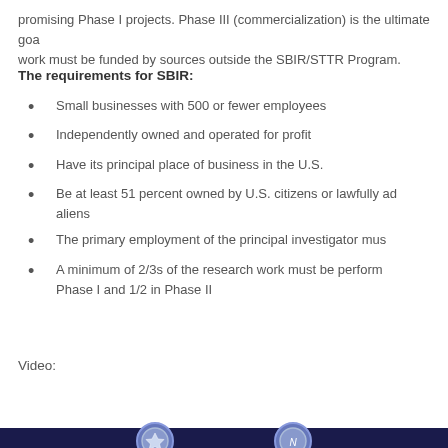promising Phase I projects. Phase III (commercialization) is the ultimate goal work must be funded by sources outside the SBIR/STTR Program.
The requirements for SBIR:
Small businesses with 500 or fewer employees
Independently owned and operated for profit
Have its principal place of business in the U.S.
Be at least 51 percent owned by U.S. citizens or lawfully admitted aliens
The primary employment of the principal investigator must
A minimum of 2/3s of the research work must be performed Phase I and 1/2 in Phase II
Video:
[Figure (screenshot): Video thumbnail showing DoD SBIR Program with logo, title 'DoD SBIR Program', chat button overlay, and partial icons at bottom on dark navy background]